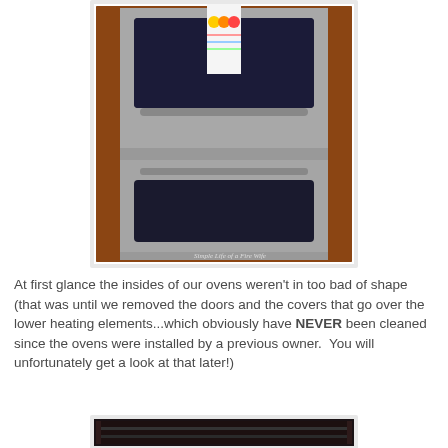[Figure (photo): A stainless steel double wall oven built into wooden cabinetry with a decorative towel hanging on the upper oven door handle. Watermark reads 'Simple Life of a Fire Wife'.]
At first glance the insides of our ovens weren't in too bad of shape (that was until we removed the doors and the covers that go over the lower heating elements...which obviously have NEVER been cleaned since the ovens were installed by a previous owner.  You will unfortunately get a look at that later!)
[Figure (photo): Partial photo of the inside of an oven, showing dark grime on the lower heating element cover.]